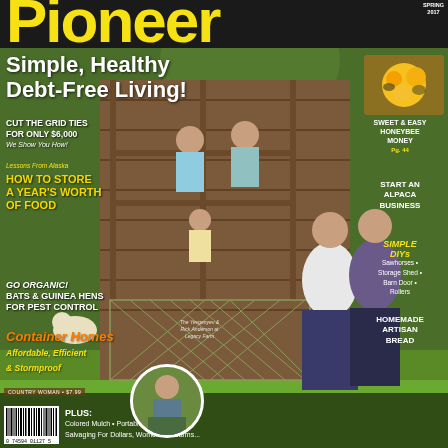Pioneer
SPRING 2017
Simple, Healthy Debt-Free Living!
CUT THE GRID TIES FOR ONLY $6,000 We Show You How!
Lessons From Alaska HOW TO STORE A YEAR'S WORTH OF FOOD
GO ORGANIC! BATS & GUINEA HENS FOR PEST CONTROL
Container Homes Affordable, Efficient & Stormproof
SWEET & EASY HONEYBEE MONEY Pg. 44
START AN ALPACA BUSINESS
SIMPLE DIYs Sawhorses • Storage Shed • Barn Door Rollers
HOMEMADE ARTISAN BREAD
PLUS:
Colored Mulch • Portable Solar Chargers
Salvaging For Dollars, Women's Firearms...